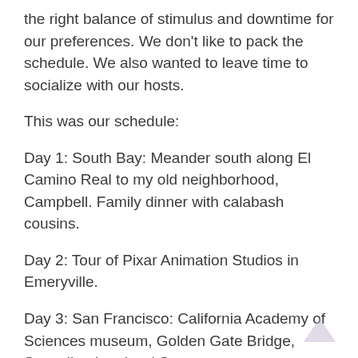the right balance of stimulus and downtime for our preferences. We don't like to pack the schedule. We also wanted to leave time to socialize with our hosts.
This was our schedule:
Day 1: South Bay: Meander south along El Camino Real to my old neighborhood, Campbell. Family dinner with calabash cousins.
Day 2: Tour of Pixar Animation Studios in Emeryville.
Day 3: San Francisco: California Academy of Sciences museum, Golden Gate Bridge, Sausalito, Lombard Street.
Day 4: Aunt's 90th birthday lunch, and birthday party for hosts' daughter.